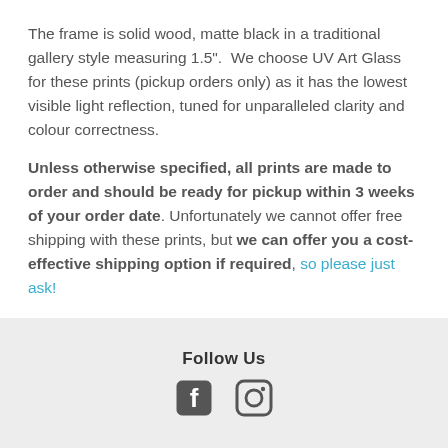The frame is solid wood, matte black in a traditional gallery style measuring 1.5".  We choose UV Art Glass for these prints (pickup orders only) as it has the lowest visible light reflection, tuned for unparalleled clarity and colour correctness.
Unless otherwise specified, all prints are made to order and should be ready for pickup within 3 weeks of your order date. Unfortunately we cannot offer free shipping with these prints, but we can offer you a cost-effective shipping option if required, so please just ask!
Follow Us
[Figure (other): Facebook and Instagram social media icons]